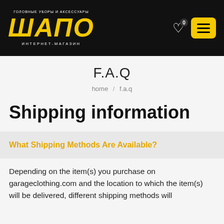ГОЛОВНЫЕ УБОРЫ И АКСЕССУАРЫ | ШАПО | ИНТЕРНЕТ-МАГАЗИН
F.A.Q
home / f.a.q
Shipping information
What Shipping Methods Are Available?
Depending on the item(s) you purchase on garageclothing.com and the location to which the item(s) will be delivered, different shipping methods will